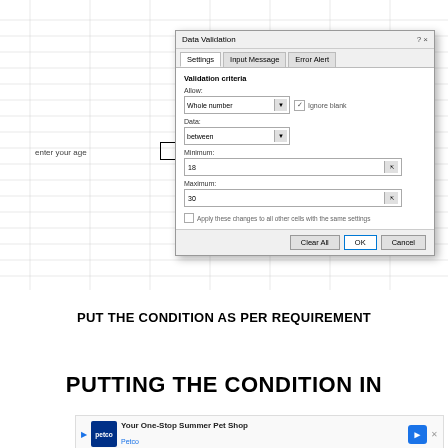[Figure (screenshot): Excel spreadsheet with Data Validation dialog box open. The dialog shows Settings, Input Message, Error Alert tabs. Validation criteria: Allow: Whole number, Ignore blank checked, Data: between, Minimum: 18, Maximum: 30. Buttons: Clear All, OK, Cancel. Spreadsheet shows cell with label 'enter your age'.]
PUT THE CONDITION AS PER REQUIREMENT
PUTTING THE CONDITION IN
[Figure (infographic): Petco advertisement banner: 'Your One-Stop Summer Pet Shop' with Petco logo and navigation arrow.]